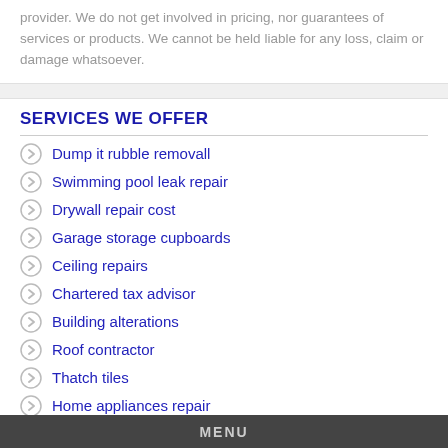provider. We do not get involved in pricing, nor guarantees of services or products. We cannot be held liable for any loss, claim or damage whatsoever.
SERVICES WE OFFER
Dump it rubble removall
Swimming pool leak repair
Drywall repair cost
Garage storage cupboards
Ceiling repairs
Chartered tax advisor
Building alterations
Roof contractor
Thatch tiles
Home appliances repair
MENU